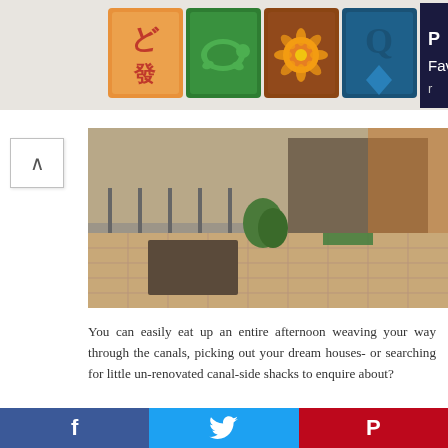[Figure (screenshot): Top banner with mahjong tile game advertisement showing colorful tiles and partial text 'P FAVOR']
[Figure (photo): Photo of a canal-side patio area with brick/stone flooring, railings, plants, and a building entrance]
You can easily eat up an entire afternoon weaving your way through the canals, picking out your dream houses- or searching for little un-renovated canal-side shacks to enquire about?
[Figure (photo): Photo of a beach promenade with tall palm trees, people gathered, and a pink/purple sunset sky]
[Figure (screenshot): Social media sharing bar with Facebook (blue), Twitter (light blue), and Pinterest (red) buttons at the bottom]